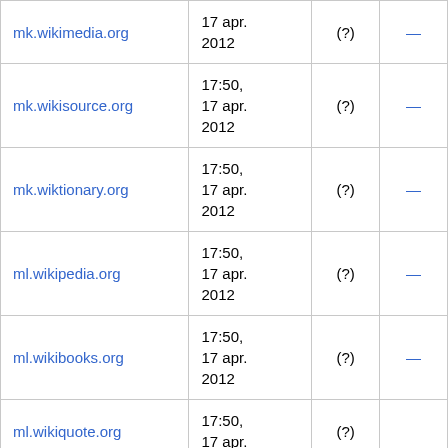| mk.wikimedia.org | 17 apr. 2012 | (?) | — |
| mk.wikisource.org | 17:50, 17 apr. 2012 | (?) | — |
| mk.wiktionary.org | 17:50, 17 apr. 2012 | (?) | — |
| ml.wikipedia.org | 17:50, 17 apr. 2012 | (?) | — |
| ml.wikibooks.org | 17:50, 17 apr. 2012 | (?) | — |
| ml.wikiquote.org | 17:50, 17 apr. | (?) |  |